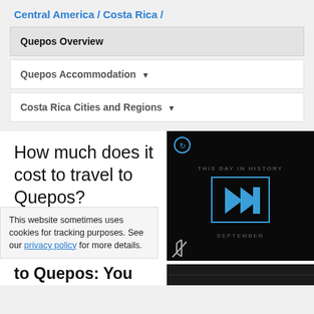Central America / Costa Rica /
Quepos Overview
Quepos Accommodation ▼
Costa Rica Cities and Regions ▼
How much does it cost to travel to Quepos?
[Figure (screenshot): Video player overlay showing 'THIS DAY IN HISTORY' with blue play button icon and SEPTEMBER label on dark background]
This website sometimes uses cookies for tracking purposes. See our privacy policy for more details.
to Quepos: You